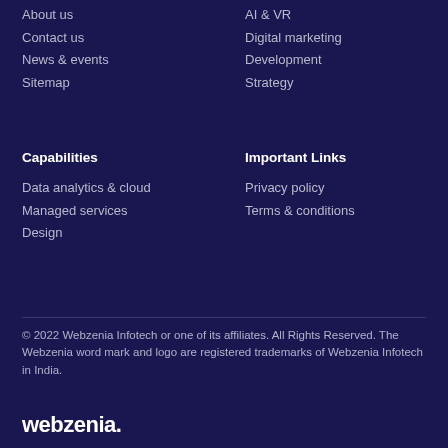About us
Contact us
News & events
Sitemap
AI & VR
Digital marketing
Development
Strategy
Capabilities
Data analytics & cloud
Managed services
Design
Important Links
Privacy policy
Terms & conditions
© 2022 Webzenia Infotech or one of its affiliates. All Rights Reserved. The Webzenia word mark and logo are registered trademarks of Webzenia Infotech in India.
[Figure (logo): Webzenia logo in white text on dark background]